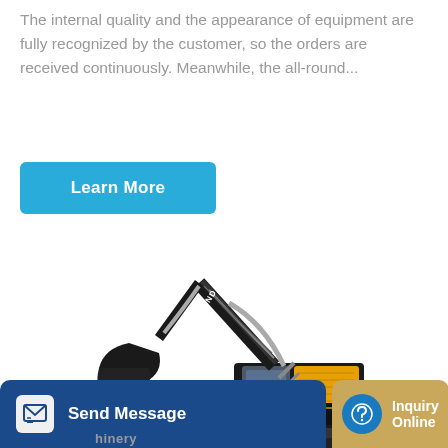The internal quality and the appearance of equipment are fully recognized by the customer, so the orders are received continuously. Meanwhile, the all-round...
[Figure (other): Blue 'Learn More' button with rounded corners]
[Figure (photo): Hyundai large excavator with raised boom arm and bucket, black and yellow color scheme, on crawler tracks]
Send Message   Inquiry Online   hinery